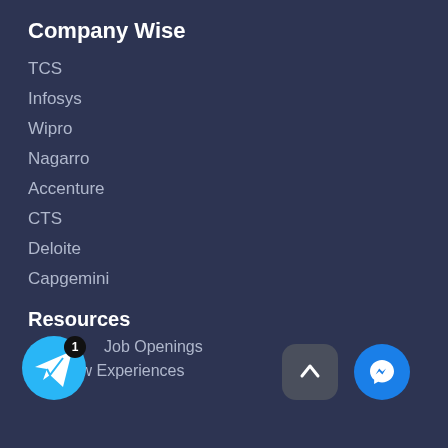Company Wise
TCS
Infosys
Wipro
Nagarro
Accenture
CTS
Deloite
Capgemini
Resources
Job Openings
Interview Experiences
[Figure (other): Telegram app icon with notification badge showing 1, and two floating UI buttons: an up-arrow button and a Facebook Messenger button]